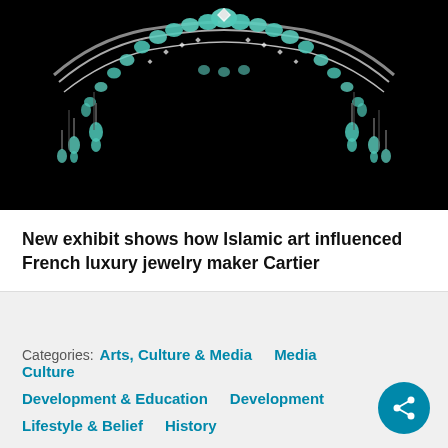[Figure (photo): A turquoise and diamond tiara/crown by Cartier photographed against a black background. The tiara features carved turquoise stones and diamond accents in an ornate arc shape.]
New exhibit shows how Islamic art influenced French luxury jewelry maker Cartier
Categories: Arts, Culture & Media   Media   Culture   Development & Education   Development   Lifestyle & Belief   History